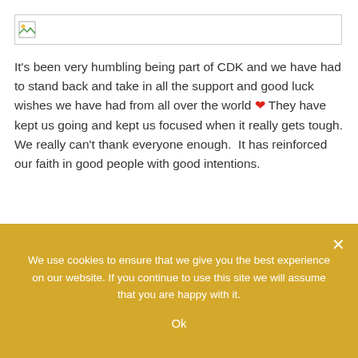[Figure (other): Broken/unloaded image placeholder with small image icon in top-left corner]
It's been very humbling being part of CDK and we have had to stand back and take in all the support and good luck wishes we have had from all over the world ❤ They have kept us going and kept us focused when it really gets tough.  We really can't thank everyone enough.  It has reinforced our faith in good people with good intentions.
We have just got to do our bit now and not let any of you down.
We use cookies to ensure that we give you the best experience on our website. If you continue to use this site we will assume that you are happy with it.
Ok